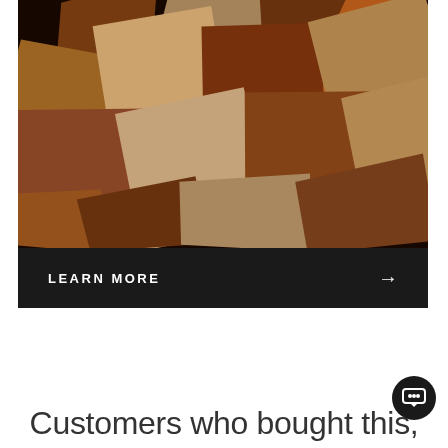[Figure (photo): Overhead view of multiple wooden planks or lumber pieces arranged at various angles, showing different wood grains and colors ranging from light tan/blonde to dark reddish-brown.]
LEARN MORE →
Customers who bought this,